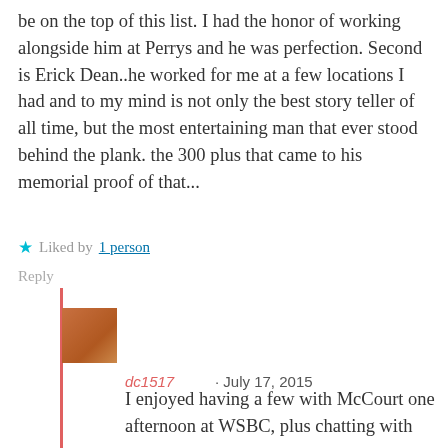be on the top of this list. I had the honor of working alongside him at Perrys and he was perfection. Second is Erick Dean..he worked for me at a few locations I had and to my mind is not only the best story teller of all time, but the most entertaining man that ever stood behind the plank. the 300 plus that came to his memorial proof of that...
★ Liked by 1 person
Reply
[Figure (photo): Small avatar thumbnail photo of commenter dc1517]
dc1517 · July 17, 2015
I enjoyed having a few with McCourt one afternoon at WSBC, plus chatting with